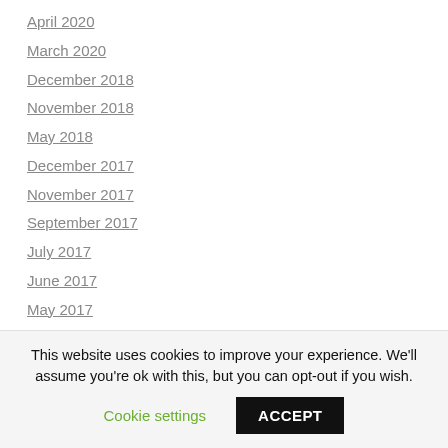April 2020
March 2020
December 2018
November 2018
May 2018
December 2017
November 2017
September 2017
July 2017
June 2017
May 2017
April 2017
March 2017
January 2017
December 2016
This website uses cookies to improve your experience. We'll assume you're ok with this, but you can opt-out if you wish. Cookie settings ACCEPT